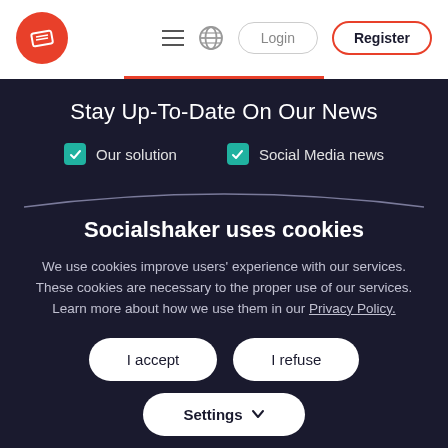Login | Register
Stay Up-To-Date On Our News
✓ Our solution
✓ Social Media news
Socialshaker uses cookies
We use cookies improve users' experience with our services. These cookies are necessary to the proper use of our services. Learn more about how we use them in our Privacy Policy.
I accept
I refuse
Settings